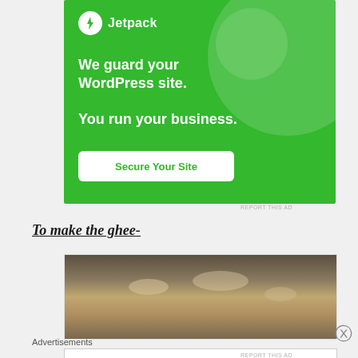[Figure (illustration): Jetpack advertisement on green background. Shows Jetpack logo (lightning bolt in circle), text 'We guard your WordPress site. You run your business.' and a 'Secure Your Site' button. Geometric circles in background.]
REPORT THIS AD
To make the ghee-
[Figure (photo): Photo of ghee or butter melting/cooking in a pot, showing golden liquid with bubbles from above.]
Advertisements
[Figure (illustration): MAC cosmetics advertisement showing colorful lipsticks (purple, peach, pink, red) with the MAC logo and a 'SHOP NOW' box.]
REPORT THIS AD